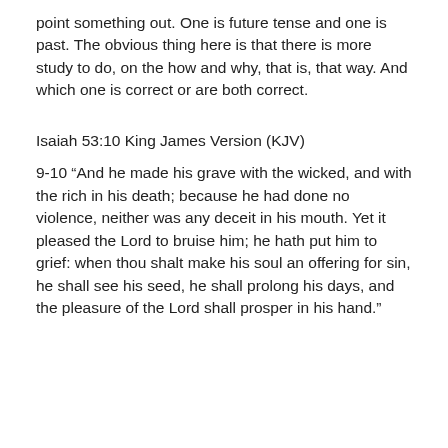point something out. One is future tense and one is past. The obvious thing here is that there is more study to do, on the how and why, that is, that way. And which one is correct or are both correct.
Isaiah 53:10 King James Version (KJV)
9-10 “And he made his grave with the wicked, and with the rich in his death; because he had done no violence, neither was any deceit in his mouth. Yet it pleased the Lord to bruise him; he hath put him to grief: when thou shalt make his soul an offering for sin, he shall see his seed, he shall prolong his days, and the pleasure of the Lord shall prosper in his hand.”